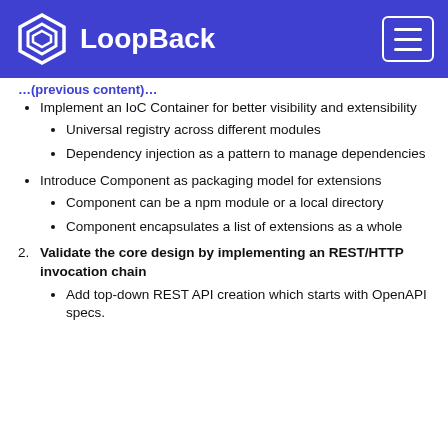LoopBack
Implement an IoC Container for better visibility and extensibility
Universal registry across different modules
Dependency injection as a pattern to manage dependencies
Introduce Component as packaging model for extensions
Component can be a npm module or a local directory
Component encapsulates a list of extensions as a whole
Validate the core design by implementing an REST/HTTP invocation chain
Add top-down REST API creation which starts with OpenAPI specs.